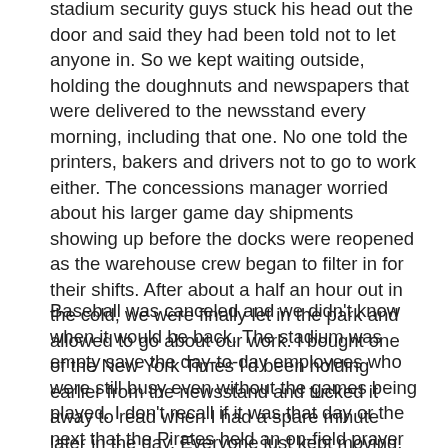stadium security guys stuck his head out the door and said they had been told not to let anyone in. So we kept waiting outside, holding the doughnuts and newspapers that were delivered to the newsstand every morning, including that one. No one told the printers, bakers and drivers not to go to work either. The concessions manager worried about his larger game day shipments showing up before the docks were reopened as the warehouse crew began to filter in for their shifts. After about a half an hour out in the cold, we were finally let in the park and allowed to go about our work. I bought one of the New York Times I'd been holding earlier from the newsstand and tucked it away to read when I had a spare minute later in the day. Everyone just kept moving.
Baseball was canceled and we didn't know when it would be back. The stadium was empty save the day-to-day employees who were still busy even without the games being played. I don't recall if it was that day or the next that the Pirates held an on-field prayer service at mid-afternoon for anyone in the stadium who wanted to come. It seemed odd to me to pray in a ballpark, not for anything real at least, so I kept my own